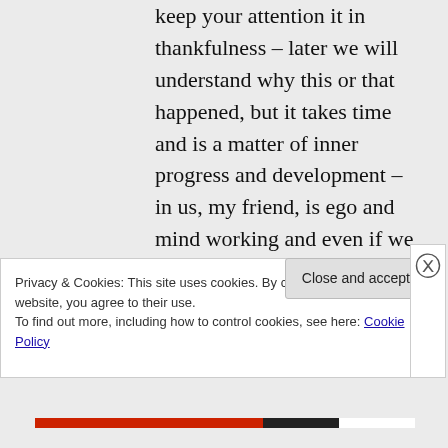keep your attention it in thankfulness – later we will understand why this or that happened, but it takes time and is a matter of inner progress and development – in us, my friend, is ego and mind working and even if we appear not to be touched by it – we can be sure that we are still under the control of
Privacy & Cookies: This site uses cookies. By continuing to use this website, you agree to their use.
To find out more, including how to control cookies, see here: Cookie Policy